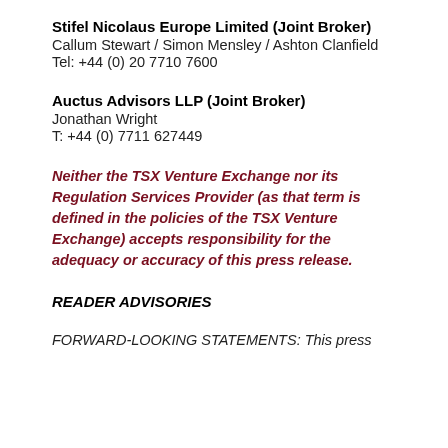Stifel Nicolaus Europe Limited (Joint Broker)
Callum Stewart / Simon Mensley / Ashton Clanfield
Tel: +44 (0) 20 7710 7600
Auctus Advisors LLP (Joint Broker)
Jonathan Wright
T: +44 (0) 7711 627449
Neither the TSX Venture Exchange nor its Regulation Services Provider (as that term is defined in the policies of the TSX Venture Exchange) accepts responsibility for the adequacy or accuracy of this press release.
READER ADVISORIES
FORWARD-LOOKING STATEMENTS: This press